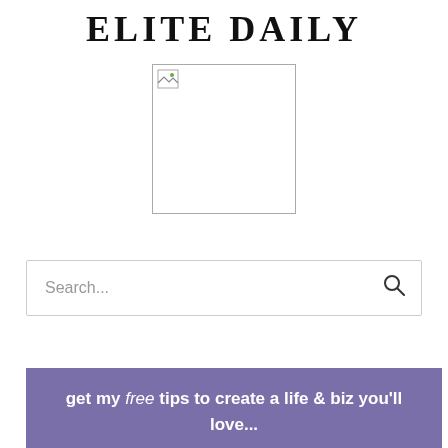ELITE DAILY
[Figure (photo): Broken image placeholder with small icon in top-left corner]
Search...
get my free tips to create a life & biz you'll love...